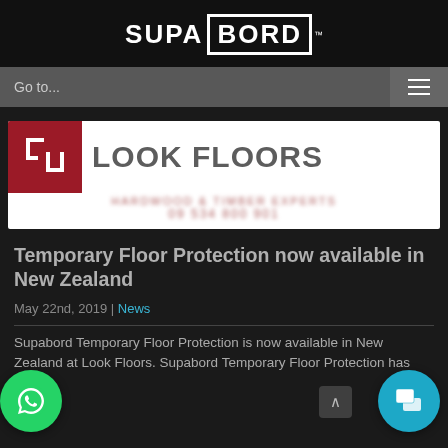[Figure (logo): SUPA BORD logo in white on black background, 'BORD' enclosed in a white rectangle border]
Go to...
[Figure (photo): Look Floors company banner/advertisement with red and white logo, blurred contact details]
Temporary Floor Protection now available in New Zealand
May 22nd, 2019 | News
Supabord Temporary Floor Protection is now available in New Zealand at Look Floors. Supabord Temporary Floor Protection has seen